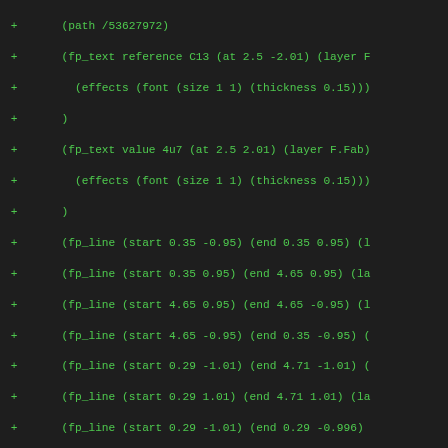Diff/code listing showing KiCad PCB footprint definition with fp_text, fp_line, pad, and model entries, each line prefixed with '+'